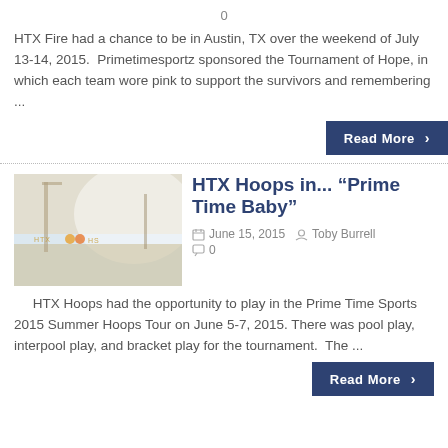0
HTX Fire had a chance to be in Austin, TX over the weekend of July 13-14, 2015.  Primetimesportz sponsored the Tournament of Hope, in which each team wore pink to support the survivors and remembering ...
Read More ›
HTX Hoops in... "Prime Time Baby"
June 15, 2015
Toby Burrell
0
HTX Hoops had the opportunity to play in the Prime Time Sports 2015 Summer Hoops Tour on June 5-7, 2015. There was pool play, interpool play, and bracket play for the tournament.  The ...
Read More ›